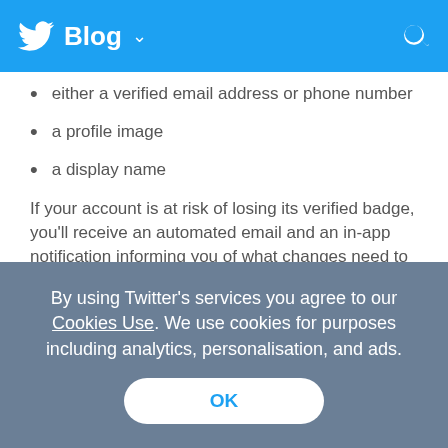Twitter Blog
either a verified email address or phone number
a profile image
a display name
If your account is at risk of losing its verified badge, you'll receive an automated email and an in-app notification informing you of what changes need to be made to avoid automatic removal of your blue verified badge. As long as you make those changes
By using Twitter’s services you agree to our Cookies Use. We use cookies for purposes including analytics, personalisation, and ads.